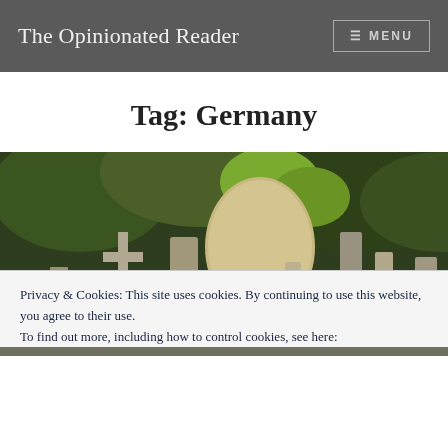The Opinionated Reader   ☰ MENU
Tag: Germany
[Figure (photo): A graveyard scene with multiple old stone grave markers and crosses, surrounded by green trees and bushes.]
Privacy & Cookies: This site uses cookies. By continuing to use this website, you agree to their use.
To find out more, including how to control cookies, see here: Cookie Policy
Close and accept